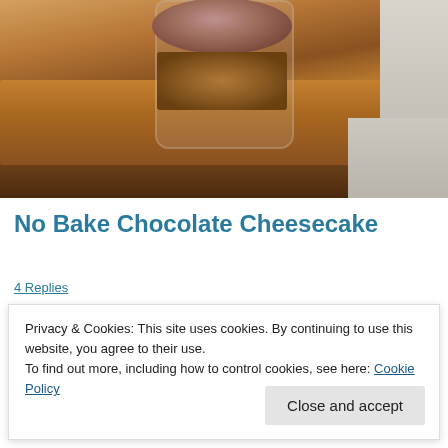[Figure (photo): Close-up photo of a no bake chocolate cheesecake in a glass jar on a wooden cutting board. The jar shows a crumbly biscuit base topped with a smooth chocolate mousse layer.]
No Bake Chocolate Cheesecake
4 Replies
Privacy & Cookies: This site uses cookies. By continuing to use this website, you agree to their use.
To find out more, including how to control cookies, see here: Cookie Policy
Close and accept